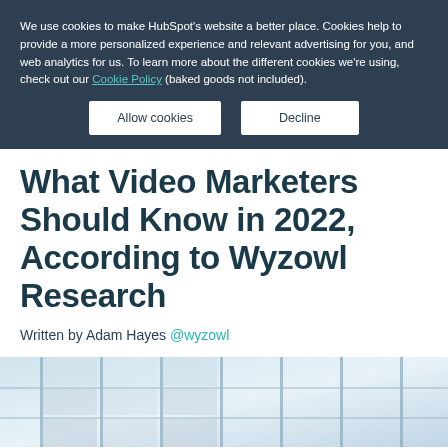We use cookies to make HubSpot's website a better place. Cookies help to provide a more personalized experience and relevant advertising for you, and web analytics for us. To learn more about the different cookies we're using, check out our Cookie Policy (baked goods not included).
Allow cookies | Decline
What Video Marketers Should Know in 2022, According to Wyzowl Research
Written by Adam Hayes @wyzowl
[Figure (photo): Partial view of a building with glass windows and metal frames, light-toned modern architecture photo cropped at the bottom of the page.]